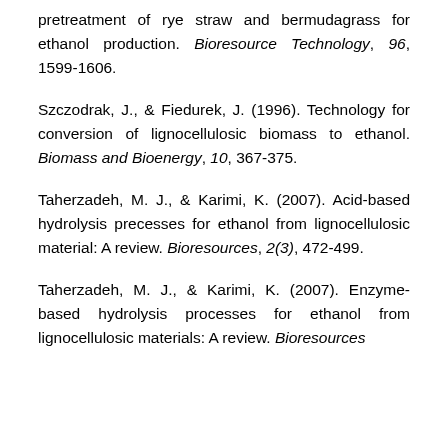pretreatment of rye straw and bermudagrass for ethanol production. Bioresource Technology, 96, 1599-1606.
Szczodrak, J., & Fiedurek, J. (1996). Technology for conversion of lignocellulosic biomass to ethanol. Biomass and Bioenergy, 10, 367-375.
Taherzadeh, M. J., & Karimi, K. (2007). Acid-based hydrolysis precesses for ethanol from lignocellulosic material: A review. Bioresources, 2(3), 472-499.
Taherzadeh, M. J., & Karimi, K. (2007). Enzyme-based hydrolysis processes for ethanol from lignocellulosic materials: A review. Bioresources